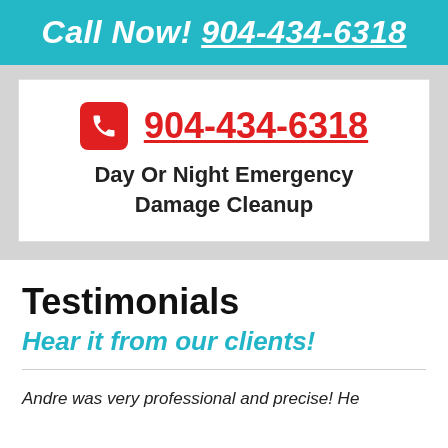Call Now! 904-434-6318
904-434-6318
Day Or Night Emergency Damage Cleanup
Testimonials
Hear it from our clients!
Andre was very professional and precise! He explained everything clearly to us, as this was a new experience for us! Even though his testing showed we